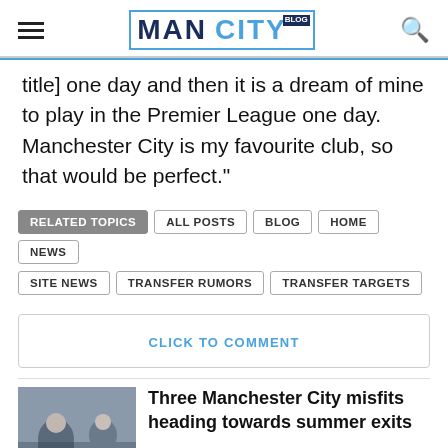MAN CITY BLOG
title] one day and then it is a dream of mine to play in the Premier League one day. Manchester City is my favourite club, so that would be perfect."
RELATED TOPICS | ALL POSTS | BLOG | HOME | NEWS | SITE NEWS | TRANSFER RUMORS | TRANSFER TARGETS
CLICK TO COMMENT
[Figure (photo): Manchester City players on the pitch, one crouching down]
Three Manchester City misfits heading towards summer exits
[Figure (photo): Partially visible image of a person]
Manchester City Transfer News Latest –